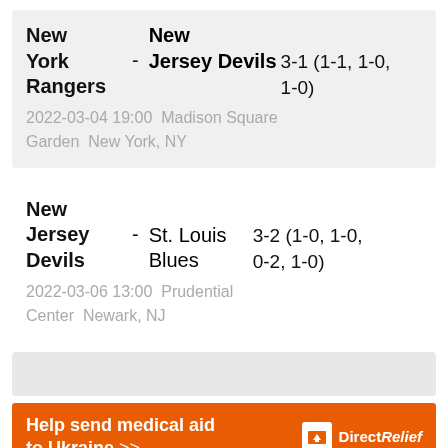New York Rangers - New Jersey Devils 3-1 (1-1, 1-0, 1-0)
2022-03-04 19:00  Madison Square Garden  New York, NY
New Jersey Devils - St. Louis Blues 3-2 (1-0, 1-0, 0-2, 1-0)
2022-03-06 13:00  Prudential Center  Newark, NJ
Help send medical aid to Ukraine >> DirectRelief